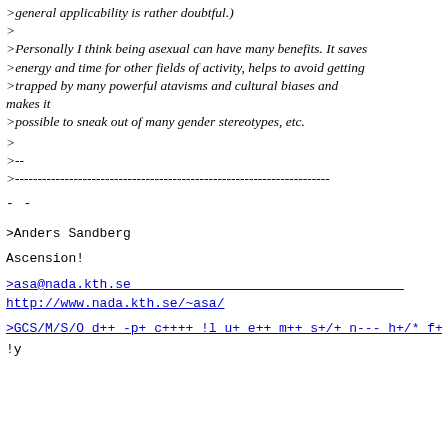>general applicability is rather doubtful.)
>
>Personally I think being asexual can have many benefits. It saves >energy and time for other fields of activity, helps to avoid getting >trapped by many powerful atavisms and cultural biases and makes it >possible to sneak out of many gender stereotypes, etc.
>
>--
>----------------------------------------------------------------------
- -
>Anders Sandberg                                                 Tow
Ascension!
>asa@nada.kth.se
http://www.nada.kth.se/~asa/
>GCS/M/S/O d++ -p+ c++++ !l u+ e++ m++ s+/+ n--- h+/* f+
!y